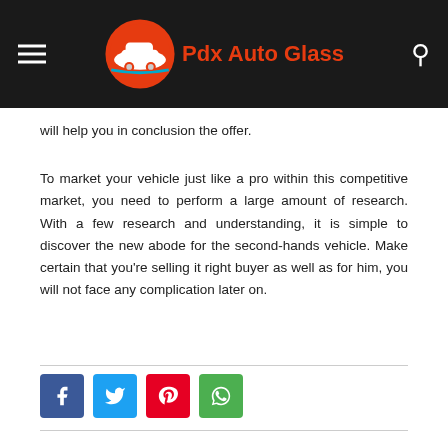Pdx Auto Glass
will help you in conclusion the offer.
To market your vehicle just like a pro within this competitive market, you need to perform a large amount of research. With a few research and understanding, it is simple to discover the new abode for the second-hands vehicle. Make certain that you're selling it right buyer as well as for him, you will not face any complication later on.
[Figure (other): Social sharing buttons: Facebook (blue), Twitter (light blue), Pinterest (red), WhatsApp (green)]